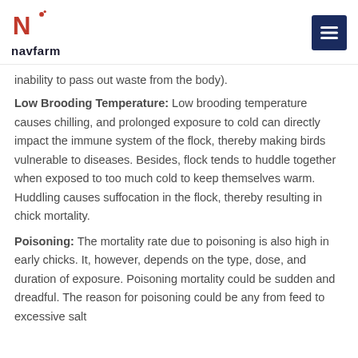navfarm
inability to pass out waste from the body).
Low Brooding Temperature: Low brooding temperature causes chilling, and prolonged exposure to cold can directly impact the immune system of the flock, thereby making birds vulnerable to diseases. Besides, flock tends to huddle together when exposed to too much cold to keep themselves warm. Huddling causes suffocation in the flock, thereby resulting in chick mortality.
Poisoning: The mortality rate due to poisoning is also high in early chicks. It, however, depends on the type, dose, and duration of exposure. Poisoning mortality could be sudden and dreadful. The reason for poisoning could be any from feed to excessive salt